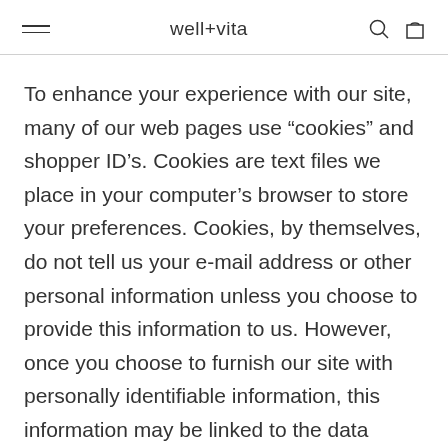well+vita
To enhance your experience with our site, many of our web pages use “cookies” and shopper ID’s. Cookies are text files we place in your computer’s browser to store your preferences. Cookies, by themselves, do not tell us your e-mail address or other personal information unless you choose to provide this information to us. However, once you choose to furnish our site with personally identifiable information, this information may be linked to the data stored in the